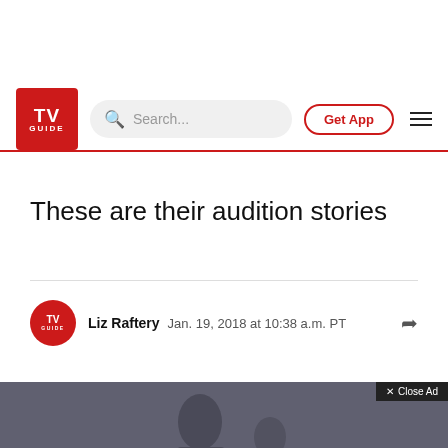TV Guide navigation bar with logo, search, Get App button, and menu
These are their audition stories
Liz Raftery  Jan. 19, 2018 at 10:38 a.m. PT
[Figure (photo): Photo of people in a dark studio setting with a CNET advertisement overlay showing 'Expert advice and reporting on money, culture, wellness, and tech you can put to good use.' with a Close Ad button]